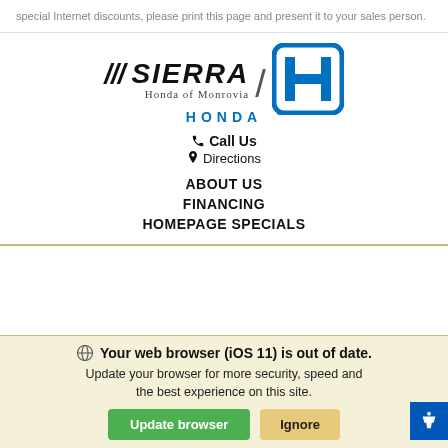special Internet discounts, please print this page and present it to your sales person.
[Figure (logo): Sierra Honda of Monrovia logo with Honda H badge]
📞 Call Us
📍 Directions
ABOUT US
FINANCING
HOMEPAGE SPECIALS
🌐 Your web browser (iOS 11) is out of date. Update your browser for more security, speed and the best experience on this site.